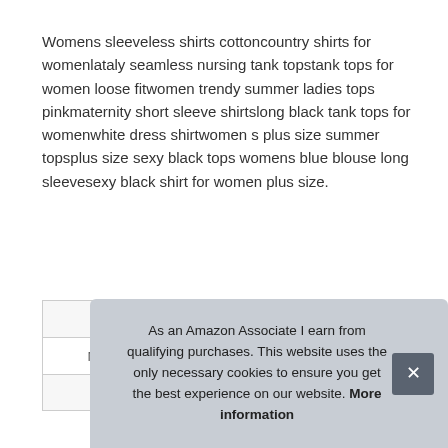Womens sleeveless shirts cottoncountry shirts for womenlataly seamless nursing tank topstank tops for women loose fitwomen trendy summer ladies tops pinkmaternity short sleeve shirtslong black tank tops for womenwhite dress shirtwomen s plus size summer topsplus size sexy black tops womens blue blouse long sleevesexy black shirt for women plus size.
| Brand | PLENTOP #ad |
| Manufacturer | goth shirt #ad |
| P |  |
As an Amazon Associate I earn from qualifying purchases. This website uses the only necessary cookies to ensure you get the best experience on our website. More information